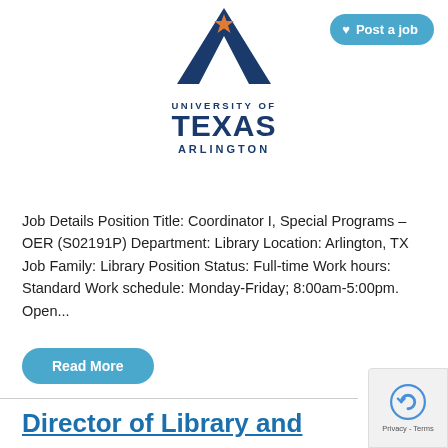[Figure (logo): University of Texas Arlington logo with blue A shape and orange star, text UNIVERSITY OF TEXAS ARLINGTON]
Post a job
Job Details Position Title: Coordinator I, Special Programs – OER (S02191P) Department: Library Location: Arlington, TX Job Family: Library Position Status: Full-time Work hours: Standard Work schedule: Monday-Friday; 8:00am-5:00pm. Open...
Read More
Director of Library and